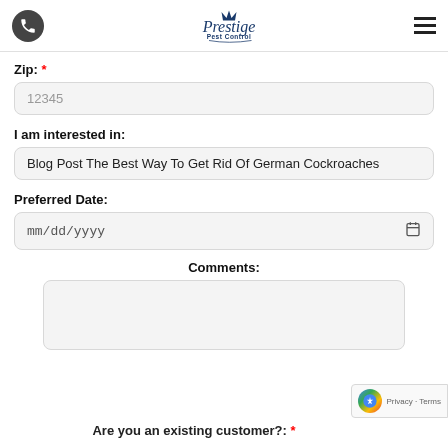Prestige Pest Control - navigation header
Zip: *
12345
I am interested in:
Blog Post The Best Way To Get Rid Of German Cockroaches
Preferred Date:
mm/dd/yyyy
Comments:
Are you an existing customer?: *